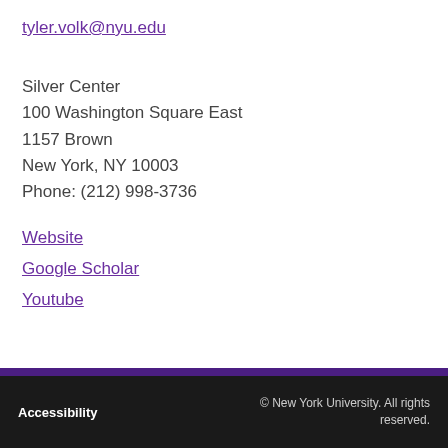tyler.volk@nyu.edu
Silver Center
100 Washington Square East
1157 Brown
New York, NY 10003
Phone: (212) 998-3736
Website
Google Scholar
Youtube
Accessibility   © New York University. All rights reserved.